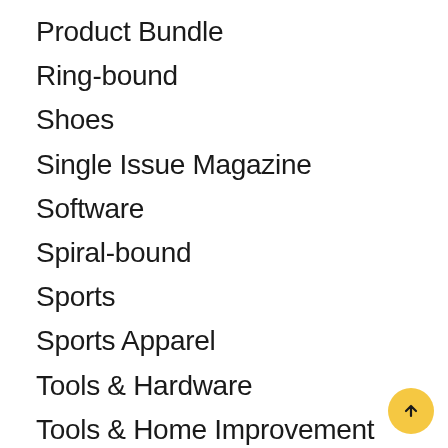Product Bundle
Ring-bound
Shoes
Single Issue Magazine
Software
Spiral-bound
Sports
Sports Apparel
Tools & Hardware
Tools & Home Improvement
Toy
Uncategorized